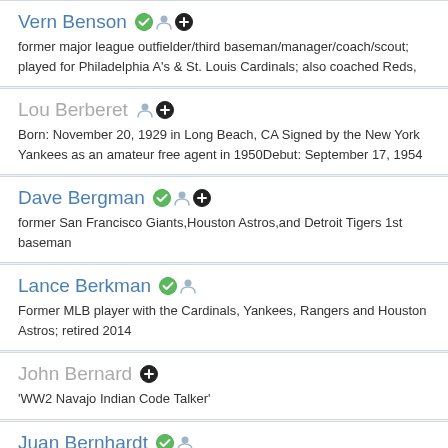Vern Benson ✅👤➕
former major league outfielder/third baseman/manager/coach/scout; played for Philadelphia A's & St. Louis Cardinals; also coached Reds,
Lou Berberet 👤➕
Born: November 20, 1929 in Long Beach, CA Signed by the New York Yankees as an amateur free agent in 1950Debut: September 17, 1954
Dave Bergman ✅👤➕
former San Francisco Giants,Houston Astros,and Detroit Tigers 1st baseman
Lance Berkman ✅👤
Former MLB player with the Cardinals, Yankees, Rangers and Houston Astros; retired 2014
John Bernard ➕
'WW2 Navajo Indian Code Talker'
Juan Bernhardt ✅👤
Seattle Mariners
Dale Berra ✅👤
Baseball / 1977-87 / Pirates, Yankees & Astros / 1st Round Draft Pick in 1975 / Yogi Berra's Son